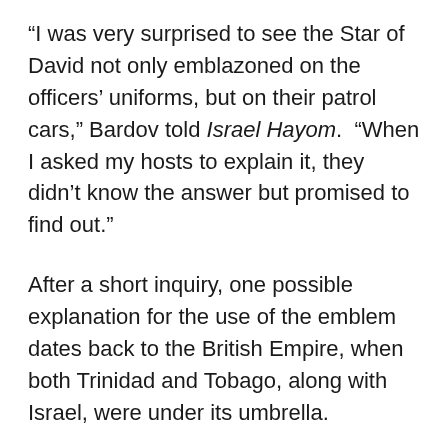“I was very surprised to see the Star of David not only emblazoned on the officers’ uniforms, but on their patrol cars,” Bardov told Israel Hayom. “When I asked my hosts to explain it, they didn’t know the answer but promised to find out.”
After a short inquiry, one possible explanation for the use of the emblem dates back to the British Empire, when both Trinidad and Tobago, along with Israel, were under its umbrella.
“I was told the British crown sent soldiers from the two islands to Israel during the